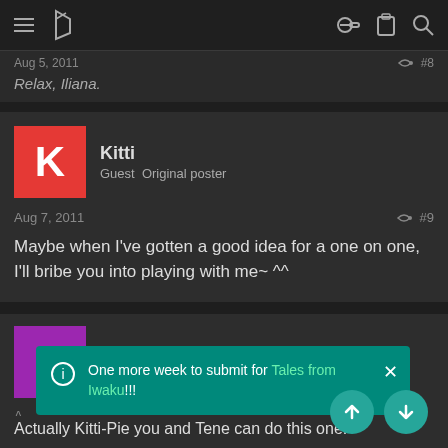Navigation bar with hamburger menu, logo, key icon, clipboard icon, search icon
Aug 5, 2011  #8
Relax, Iliana.
Kitti
Guest  Original poster
Aug 7, 2011  #9
Maybe when I've gotten a good idea for a one on one, I'll bribe you into playing with me~ ^^
Iliana
Guest  Original poster
One more week to submit for Tales from Iwaku!!!
Actually Kitti-Pie you and Tene can do this one!